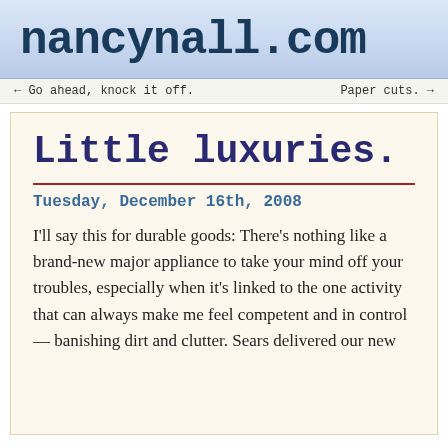nancynall.com
← Go ahead, knock it off.    Paper cuts. →
Little luxuries.
Tuesday, December 16th, 2008
I'll say this for durable goods: There's nothing like a brand-new major appliance to take your mind off your troubles, especially when it's linked to the one activity that can always make me feel competent and in control — banishing dirt and clutter. Sears delivered our new